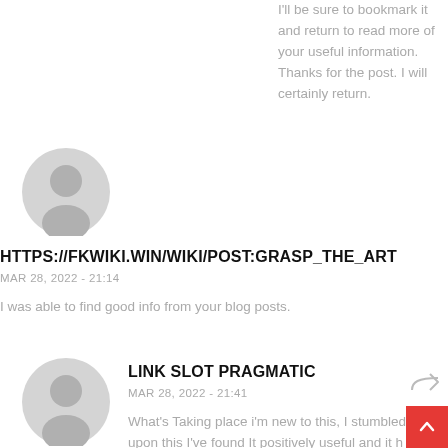I'll be sure to bookmark it and return to read more of your useful information. Thanks for the post. I will certainly return.
[Figure (illustration): Generic user avatar (grey silhouette of a person on light grey circle background)]
HTTPS://FKWIKI.WIN/WIKI/POST:GRASP_THE_ART
MAR 28, 2022 - 21:14
I was able to find good info from your blog posts.
[Figure (illustration): Generic user avatar (grey silhouette of a person on light grey circle background)]
LINK SLOT PRAGMATIC
MAR 28, 2022 - 21:41
What's Taking place i'm new to this, I stumbled upon this I've found It positively useful and it h